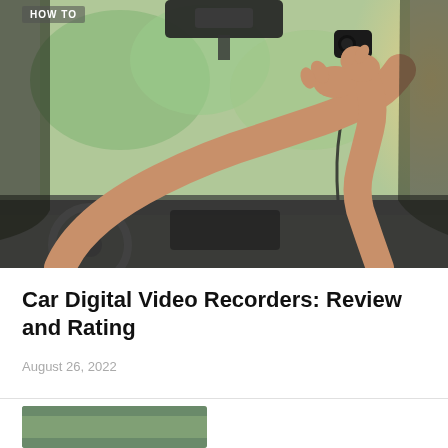[Figure (photo): Person installing a dash cam on a car windshield from inside the vehicle, reaching up to attach a small black camera near the rearview mirror. Green trees visible through windshield, warm sunlight on right side.]
HOW TO
Car Digital Video Recorders: Review and Rating
August 26, 2022